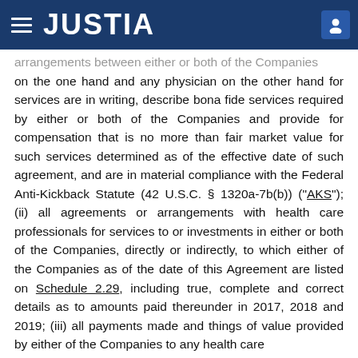JUSTIA
arrangements between either or both of the Companies on the one hand and any physician on the other hand for services are in writing, describe bona fide services required by either or both of the Companies and provide for compensation that is no more than fair market value for such services determined as of the effective date of such agreement, and are in material compliance with the Federal Anti-Kickback Statute (42 U.S.C. § 1320a-7b(b)) (“AKS”); (ii) all agreements or arrangements with health care professionals for services to or investments in either or both of the Companies, directly or indirectly, to which either of the Companies as of the date of this Agreement are listed on Schedule 2.29, including true, complete and correct details as to amounts paid thereunder in 2017, 2018 and 2019; (iii) all payments made and things of value provided by either of the Companies to any health care